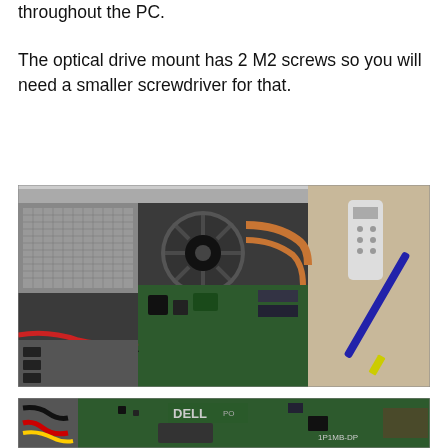throughout the PC.
The optical drive mount has 2 M2 screws so you will need a smaller screwdriver for that.
[Figure (photo): Open PC internals showing cooling fan, copper heat pipes, green motherboard, red and black cables, and a screwdriver placed to the right on a wooden surface.]
[Figure (photo): Dell motherboard close-up showing green PCB with Dell logo, labeled '1P1MB-DP', with black and red cables connected.]